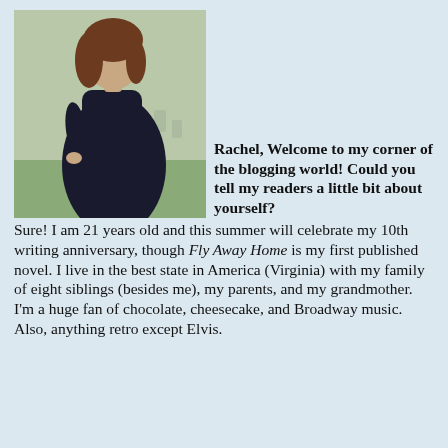[Figure (photo): Portrait photo of a young woman in a black dress standing outdoors]
Rachel, Welcome to my corner of the blogging world! Could you tell my readers a little bit about yourself? Sure! I am 21 years old and this summer will celebrate my 10th writing anniversary, though Fly Away Home is my first published novel. I live in the best state in America (Virginia) with my family of eight siblings (besides me), my parents, and my grandmother. I'm a huge fan of chocolate, cheesecake, and Broadway music. Also, anything retro except Elvis.